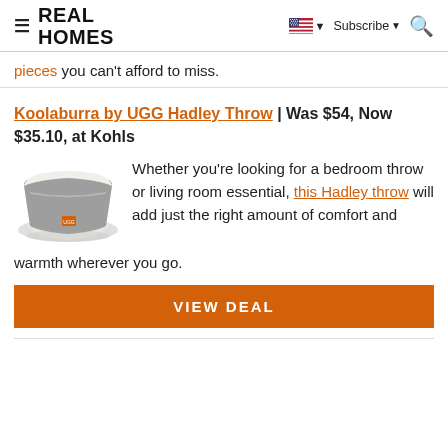REAL HOMES
pieces you can't afford to miss.
Koolaburra by UGG Hadley Throw | Was $54, Now $35.10, at Kohls
[Figure (photo): Gray and white folded throw blanket with orange logo tag]
Whether you're looking for a bedroom throw or living room essential, this Hadley throw will add just the right amount of comfort and warmth wherever you go.
VIEW DEAL